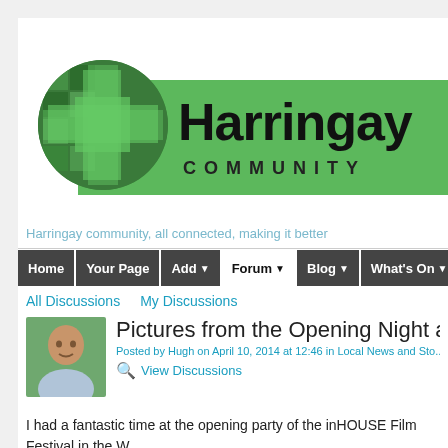[Figure (logo): Harringay Community website logo: green circle with cross pattern on left, green banner with 'Harringay' in large black bold text and 'COMMUNITY' in spaced lettering below]
Harringay Community website navigation header
All Discussions   My Discussions
Pictures from the Opening Night a...
Posted by Hugh on April 10, 2014 at 12:46 in Local News and Sto...
View Discussions
I had a fantastic time at the opening party of the inHOUSE Film Festival in the W... to come tonight till Sunday!!